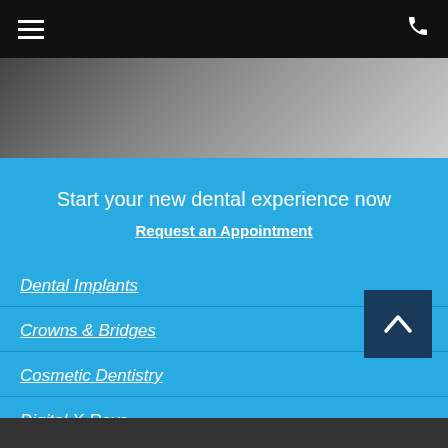Navigation header with hamburger menu and phone icon
[Figure (photo): Partial view of a dental office or patient scene, grayscale/dark toned photo strip]
Start your new dental experience now
Request an Appointment
Dental Implants
Crowns & Bridges
Cosmetic Dentistry
Digital X-Rays